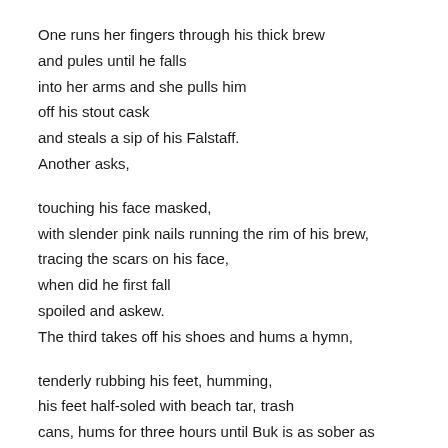One runs her fingers through his thick brew
and pules until he falls
into her arms and she pulls him
off his stout cask
and steals a sip of his Falstaff.
Another asks,

touching his face masked,
with slender pink nails running the rim of his brew,
tracing the scars on his face,
when did he first fall
spoiled and askew.
The third takes off his shoes and hums a hymn,

tenderly rubbing his feet, humming,
his feet half-soled with beach tar, trash
cans, hums for three hours until Buk is as sober as